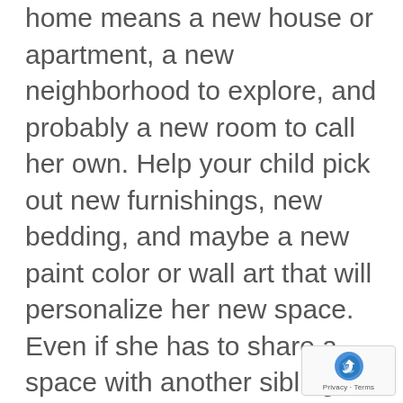home means a new house or apartment, a new neighborhood to explore, and probably a new room to call her own. Help your child pick out new furnishings, new bedding, and maybe a new paint color or wall art that will personalize her new space. Even if she has to share a space with another sibling – at your house or your co-parent's house – make sure she has a space she can call her own.
Make the new home feel familiar
Sometimes too much newness can be stressful for a child, especially for the very young. Your child will feel more comfortable in his new home when he has some familiar belongings there.